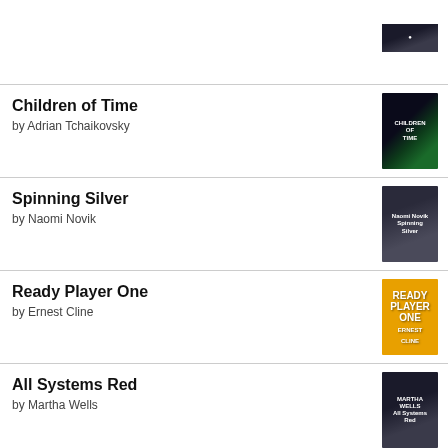[Figure (illustration): Partial book cover visible at top of page]
Children of Time by Adrian Tchaikovsky
[Figure (illustration): Children of Time book cover - dark with green light]
Spinning Silver by Naomi Novik
[Figure (illustration): Spinning Silver book cover - dark with person]
Ready Player One by Ernest Cline
[Figure (illustration): Ready Player One book cover - orange/yellow]
All Systems Red by Martha Wells
[Figure (illustration): All Systems Red book cover - dark figure]
Strange the Dreamer by Laini Taylor
[Figure (illustration): Strange the Dreamer book cover - blue/purple]
The Final Empire by Brandon Sanderson
[Figure (illustration): The Final Empire book cover - purple/dark, partially visible]